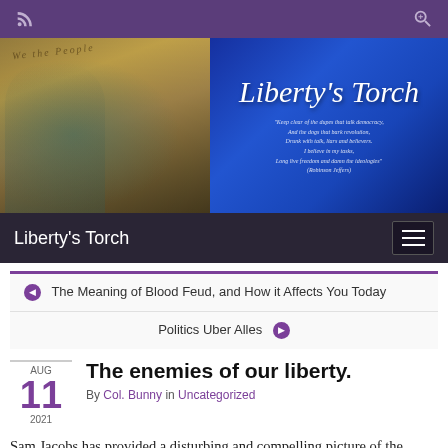Liberty's Torch — browser top bar with RSS and zoom icons
[Figure (illustration): Blog banner image: left half shows Statue of Liberty and We the People manuscript background in gold/brown tones; right half shows blue gradient background with cursive 'Liberty's Torch' title and a poem quote attributed to Robinson Jeffers]
Liberty's Torch — site navigation bar with hamburger menu
◀ The Meaning of Blood Feud, and How it Affects You Today
Politics Uber Alles ▶
The enemies of our liberty.
By Col. Bunny in Uncategorized
AUG 11 2021
Sam Jacobs has provided a disturbing and compelling picture of the Great Reset.[1]